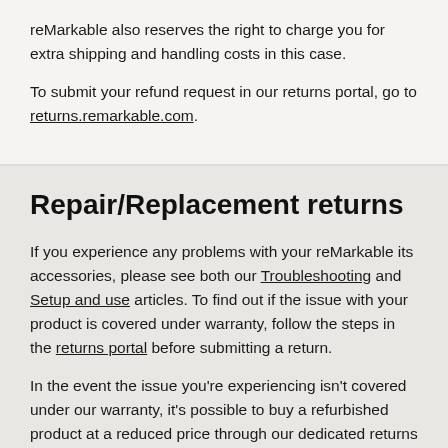reMarkable also reserves the right to charge you for extra shipping and handling costs in this case.
To submit your refund request in our returns portal, go to returns.remarkable.com.
Repair/Replacement returns
If you experience any problems with your reMarkable its accessories, please see both our Troubleshooting and Setup and use articles. To find out if the issue with your product is covered under warranty, follow the steps in the returns portal before submitting a return.
In the event the issue you're experiencing isn't covered under our warranty, it's possible to buy a refurbished product at a reduced price through our dedicated returns